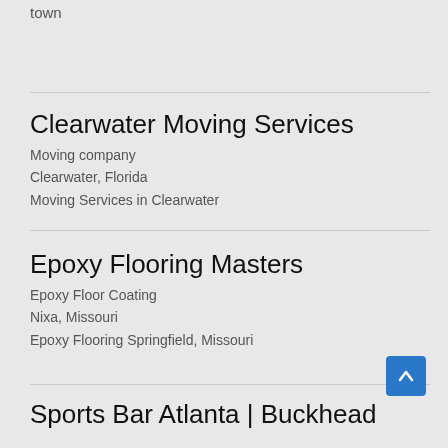town
Clearwater Moving Services
Moving company
Clearwater, Florida
Moving Services in Clearwater
Epoxy Flooring Masters
Epoxy Floor Coating
Nixa, Missouri
Epoxy Flooring Springfield, Missouri
Sports Bar Atlanta | Buckhead